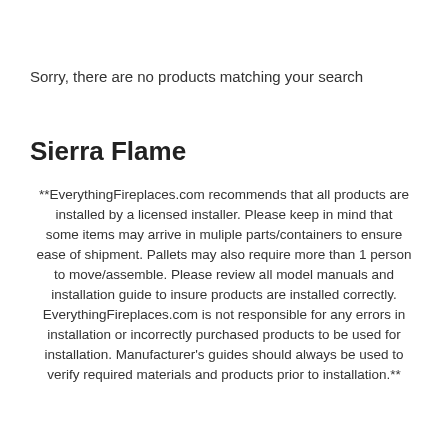Sorry, there are no products matching your search
Sierra Flame
**EverythingFireplaces.com recommends that all products are installed by a licensed installer. Please keep in mind that some items may arrive in muliple parts/containers to ensure ease of shipment. Pallets may also require more than 1 person to move/assemble. Please review all model manuals and installation guide to insure products are installed correctly. EverythingFireplaces.com is not responsible for any errors in installation or incorrectly purchased products to be used for installation. Manufacturer's guides should always be used to verify required materials and products prior to installation.**